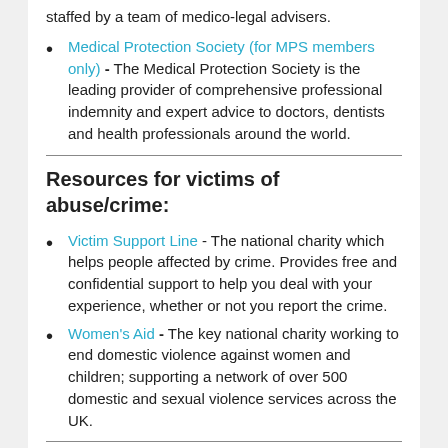staffed by a team of medico-legal advisers.
Medical Protection Society (for MPS members only) - The Medical Protection Society is the leading provider of comprehensive professional indemnity and expert advice to doctors, dentists and health professionals around the world.
Resources for victims of abuse/crime:
Victim Support Line - The national charity which helps people affected by crime. Provides free and confidential support to help you deal with your experience, whether or not you report the crime.
Women's Aid - The key national charity working to end domestic violence against women and children; supporting a network of over 500 domestic and sexual violence services across the UK.
Resources for International Medical Graduates: